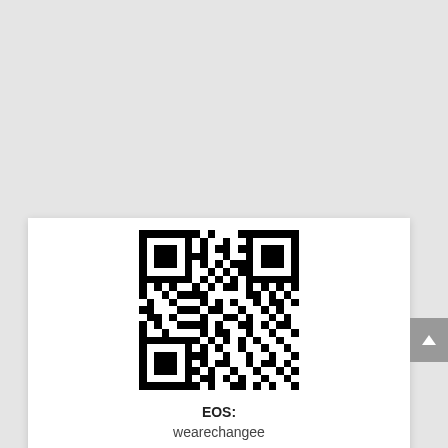[Figure (other): QR code for EOS address wearechangee]
EOS:
wearechangee
[Figure (other): Second QR code partially visible at bottom]